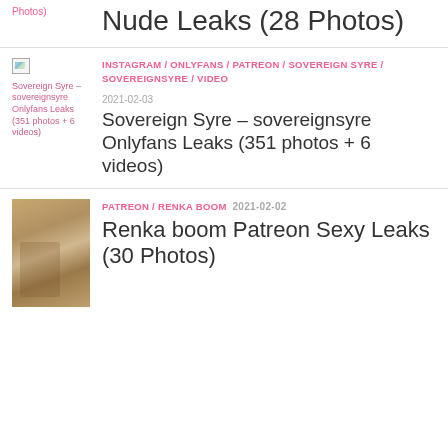Nude Leaks (28 Photos)
INSTAGRAM / ONLYFANS / PATREON / SOVEREIGN SYRE / SOVEREIGNSYRE / VIDEO
2021-02-03
Sovereign Syre – sovereignsyre Onlyfans Leaks (351 photos + 6 videos)
PATREON / RENKA BOOM  2021-02-02
Renka boom Patreon Sexy Leaks (30 Photos)